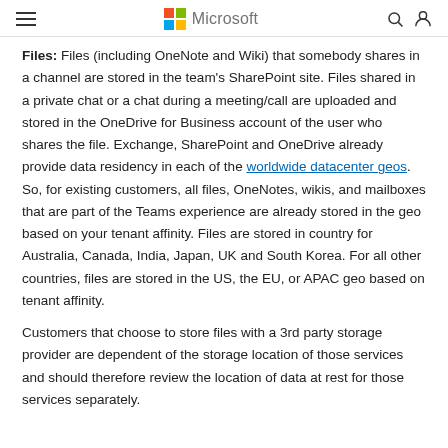Microsoft
Files: Files (including OneNote and Wiki) that somebody shares in a channel are stored in the team's SharePoint site. Files shared in a private chat or a chat during a meeting/call are uploaded and stored in the OneDrive for Business account of the user who shares the file. Exchange, SharePoint and OneDrive already provide data residency in each of the worldwide datacenter geos. So, for existing customers, all files, OneNotes, wikis, and mailboxes that are part of the Teams experience are already stored in the geo based on your tenant affinity. Files are stored in country for Australia, Canada, India, Japan, UK and South Korea. For all other countries, files are stored in the US, the EU, or APAC geo based on tenant affinity.
Customers that choose to store files with a 3rd party storage provider are dependent of the storage location of those services and should therefore review the location of data at rest for those services separately.